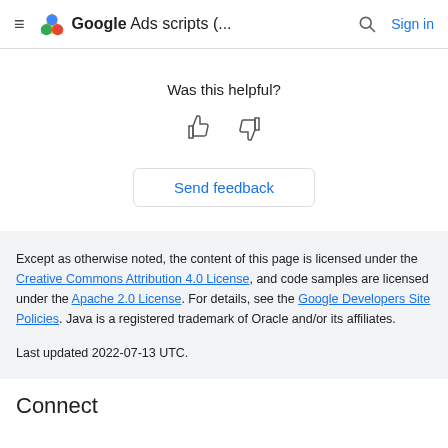Google Ads scripts (...  Sign in
Was this helpful?
[Figure (other): Thumbs up and thumbs down icons for feedback]
Send feedback
Except as otherwise noted, the content of this page is licensed under the Creative Commons Attribution 4.0 License, and code samples are licensed under the Apache 2.0 License. For details, see the Google Developers Site Policies. Java is a registered trademark of Oracle and/or its affiliates.
Last updated 2022-07-13 UTC.
Connect